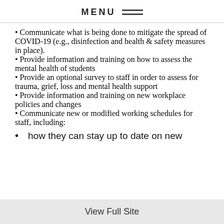MENU
Communicate what is being done to mitigate the spread of COVID-19 (e.g., disinfection and health & safety measures in place).
Provide information and training on how to assess the mental health of students
Provide an optional survey to staff in order to assess for trauma, grief, loss and mental health support
Provide information and training on new workplace policies and changes
Communicate new or modified working schedules for staff, including:
how they can stay up to date on new
View Full Site